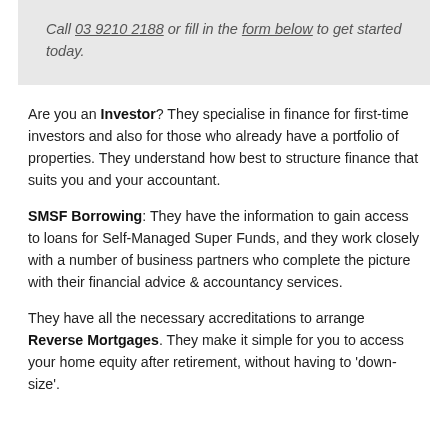Call 03 9210 2188 or fill in the form below to get started today.
Are you an Investor? They specialise in finance for first-time investors and also for those who already have a portfolio of properties. They understand how best to structure finance that suits you and your accountant.
SMSF Borrowing: They have the information to gain access to loans for Self-Managed Super Funds, and they work closely with a number of business partners who complete the picture with their financial advice & accountancy services.
They have all the necessary accreditations to arrange Reverse Mortgages. They make it simple for you to access your home equity after retirement, without having to 'down-size'.